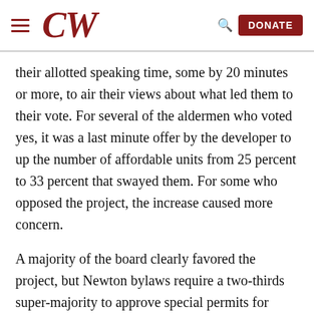CW | DONATE
their allotted speaking time, some by 20 minutes or more, to air their views about what led them to their vote. For several of the aldermen who voted yes, it was a last minute offer by the developer to up the number of affordable units from 25 percent to 33 percent that swayed them. For some who opposed the project, the increase caused more concern.
A majority of the board clearly favored the project, but Newton bylaws require a two-thirds super-majority to approve special permits for affordable housing. The outcome was in doubt until the roll call near midnight. It passed 17-6, one vote over the total needed for